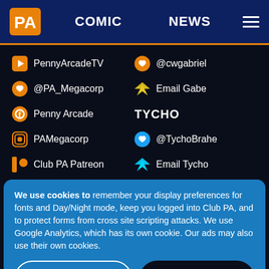PA | COMIC | NEWS
PennyArcadeTV
@cwgabriel
@PA_Megacorp
Email Gabe
Penny Arcade
TYCHO
PAMegacorp
@TychoBrahe
Club PA Patreon
Email Tycho
We use cookies to remember your display preferences for fonts and Day/Night mode, keep you logged into Club PA, and to protect forms from cross site scripting attacks. We use Google Analytics, which has its own cookie. Our ads may also use their own cookies.
Use Necessary Cookies Only
Allow All Cookies